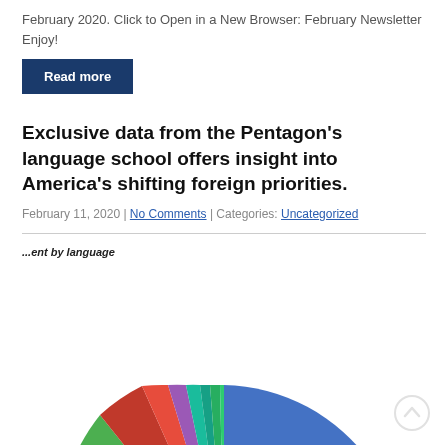February 2020. Click to Open in a New Browser: February Newsletter Enjoy!
Read more
Exclusive data from the Pentagon's language school offers insight into America's shifting foreign priorities.
February 11, 2020 | No Comments | Categories: Uncategorized
[Figure (pie-chart): Partially visible pie chart showing distribution by language, with multiple colored slices including blue, yellow, green, purple, red, and other colors. The chart is cropped at the bottom of the page.]